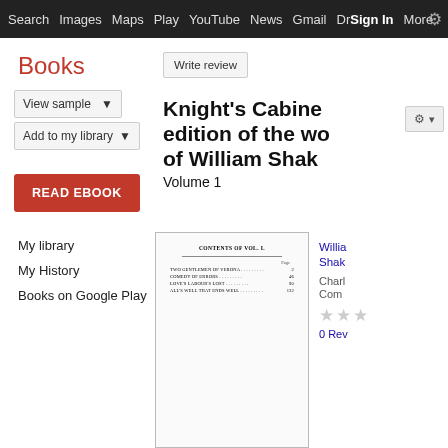Search  Images  Maps  Play  YouTube  News  Gmail  Drive  More  Sign In  [settings]
Books
View sample ▼   Add to my library ▼   Write review
READ EBOOK
My library
My History
Books on Google Play
Knight's Cabinet edition of the works of William Shakespeare
Volume 1
[Figure (photo): Thumbnail of book page showing 'CONTENTS OF VOL. I.' with entries: TWO GENTLEMEN OF VERONA, COMEDY OF ERRORS, LOVE'S LABOUR'S LOST, ALL'S WELL THAT ENDS WELL]
William Shakespeare
Charles Knight   Complete
★★★
0 Reviews